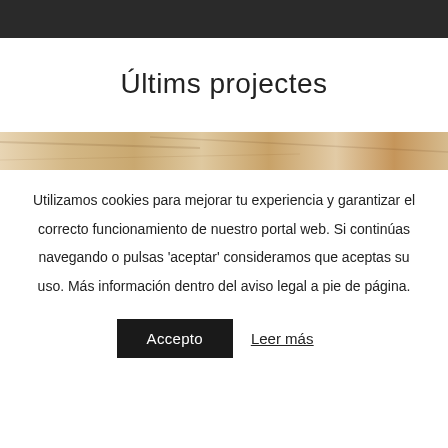[Figure (photo): Dark top bar representing a website header navigation area]
Últims projectes
[Figure (photo): Marble texture strip image running horizontally across the page]
Utilizamos cookies para mejorar tu experiencia y garantizar el correcto funcionamiento de nuestro portal web. Si continúas navegando o pulsas 'aceptar' consideramos que aceptas su uso. Más información dentro del aviso legal a pie de página.
Accepto   Leer más